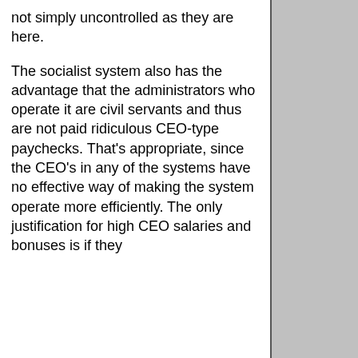not simply uncontrolled as they are here.
The socialist system also has the advantage that the administrators who operate it are civil servants and thus are not paid ridiculous CEO-type paychecks. That's appropriate, since the CEO's in any of the systems have no effective way of making the system operate more efficiently. The only justification for high CEO salaries and bonuses is if they